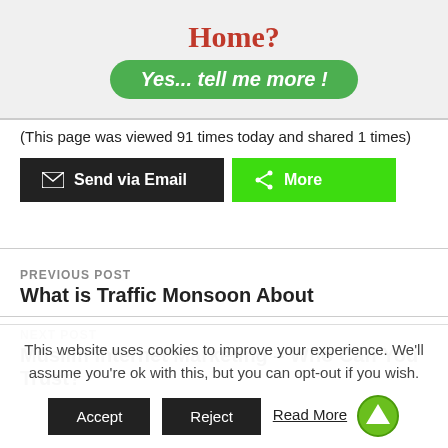[Figure (illustration): Banner with red bold text 'Home?' and a green oval button 'Yes... tell me more!' with a person image on the right]
(This page was viewed 91 times today and shared 1 times)
[Figure (screenshot): Two buttons: black 'Send via Email' with envelope icon, and green 'More' with share icon]
PREVIOUS POST
What is Traffic Monsoon About
NEXT POST
Muslim Internet Marketing – Who Can You Trust?
This website uses cookies to improve your experience. We'll assume you're ok with this, but you can opt-out if you wish.
Accept   Reject   Read More